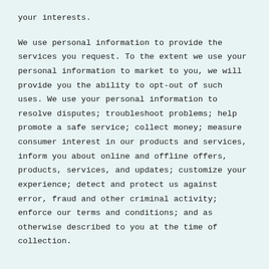your interests.
We use personal information to provide the services you request. To the extent we use your personal information to market to you, we will provide you the ability to opt-out of such uses. We use your personal information to resolve disputes; troubleshoot problems; help promote a safe service; collect money; measure consumer interest in our products and services, inform you about online and offline offers, products, services, and updates; customize your experience; detect and protect us against error, fraud and other criminal activity; enforce our terms and conditions; and as otherwise described to you at the time of collection.